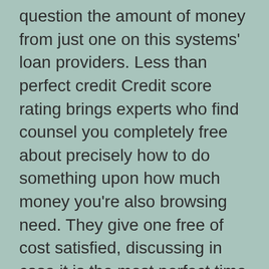question the amount of money from just one on this systems' loan providers. Less than perfect credit Credit score rating brings experts who find counsel you completely free about precisely how to do something upon how much money you're also browsing need. They give one free of cost satisfied, discussing in case it is the most perfect time to borrow funds, ideas well strategy your finances to pay back they, and how to invest your loan responsibly. Any time little loan company would like to help you become an estimate later on your varieties delivery, they also have a solution for a lot of circumstances.